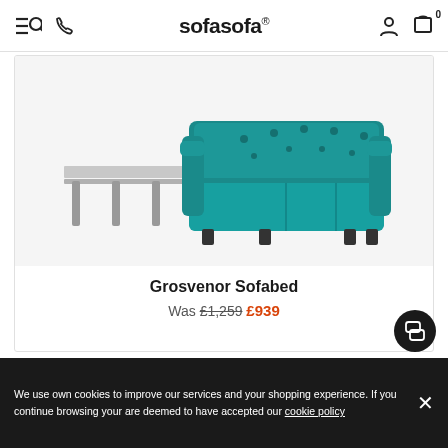sofasofa®
[Figure (photo): Teal Chesterfield-style sofabed shown in open/extended position with metal pull-out bed frame visible, photographed from the side against a white background.]
Grosvenor Sofabed
Was £1,259  £939
We use own cookies to improve our services and your shopping experience. If you continue browsing your are deemed to have accepted our cookie policy